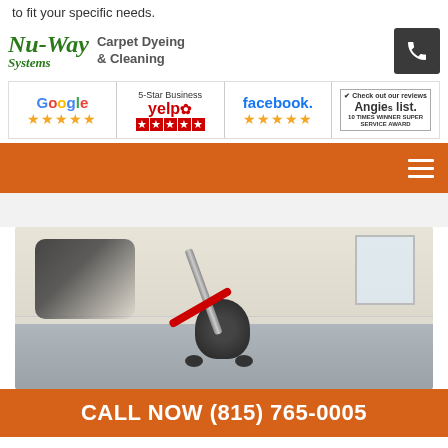to fit your specific needs.
[Figure (logo): Nu-Way Systems Carpet Dyeing & Cleaning logo with phone button]
[Figure (infographic): Review badges: Google 5-star, Yelp 5-star, Facebook 5-star, Angie's List 10 Times Winner Super Service Award]
[Figure (screenshot): Orange navigation bar with hamburger menu icon]
[Figure (photo): Floor cleaning machine being operated in an empty room]
CALL NOW (815) 765-0005